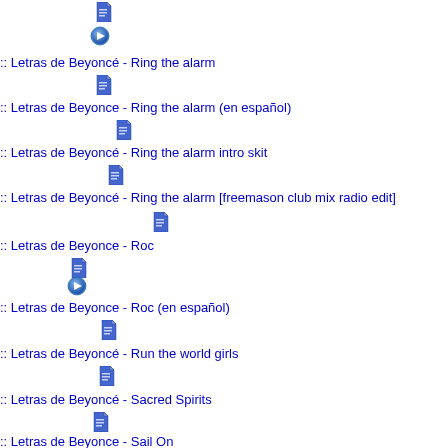:: Letras de Beyoncé - Ring the alarm
:: Letras de Beyonce - Ring the alarm (en español)
:: Letras de Beyoncé - Ring the alarm intro skit
:: Letras de Beyoncé - Ring the alarm [freemason club mix radio edit]
:: Letras de Beyonce - Roc
:: Letras de Beyonce - Roc (en español)
:: Letras de Beyoncé - Run the world girls
:: Letras de Beyoncé - Sacred Spirits
:: Letras de Beyonce - Sail On
:: Letras de Beyoncé - Satellites